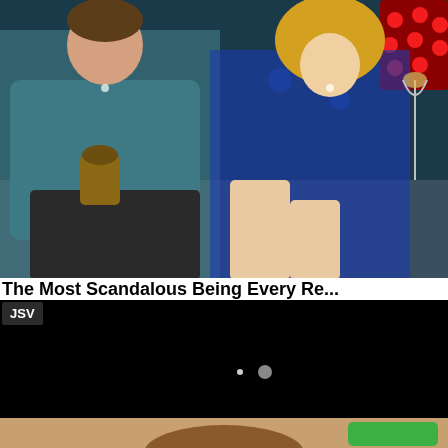[Figure (screenshot): Two people sitting on a couch in a TV studio setting. A man in a teal/blue button-up shirt on the left holding a drink, and a woman in a blue dress on the right. Background has blue lit circles and a red illuminated sign/star shape.]
The Most Scandalous Being Every Re...
[Figure (screenshot): Black video player screen with a small gray dot/circle and small white dot visible near center-bottom area. JSV label overlay in top-left corner.]
[Figure (photo): Bottom portion of page showing what appears to be the top of a person's head/face and a green button element in the lower right corner.]